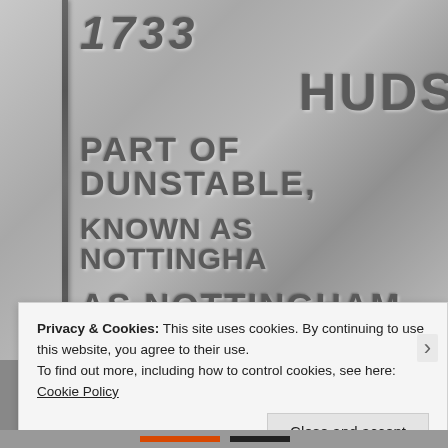[Figure (photo): Black and white close-up photograph of a stone or metal plaque with embossed/engraved text reading '1733', 'HUDS', 'PART OF DUNSTABLE,', 'KNOWN AS NOTTINGHA', 'AS NOTTINGHAM'. A vertical bar or column edge is visible on the left side of the plaque.]
Privacy & Cookies: This site uses cookies. By continuing to use this website, you agree to their use.
To find out more, including how to control cookies, see here: Cookie Policy
Close and accept